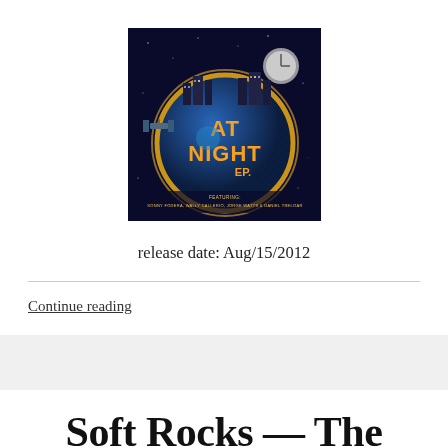[Figure (illustration): Album cover art for 'At Night EP' featuring a stylized globe/planet at night with city buildings on top, text reading 'AT NIGHT EP' in orange graffiti-style lettering, and small text at bottom reading 'FEATURING: SONNY FODERA, WALLY CALLERIO, JORGE WATTS & DANIEL TRELOAR'. Dark space background with stars.]
release date: Aug/15/2012
Continue reading
Soft Rocks — The